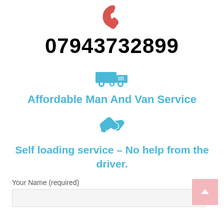[Figure (illustration): Red phone/call icon at top center]
07943732899
[Figure (illustration): Light blue truck/van icon]
Affordable Man And Van Service
[Figure (illustration): Light blue hand/service icon]
Self loading service – No help from the driver.
Your Name (required)